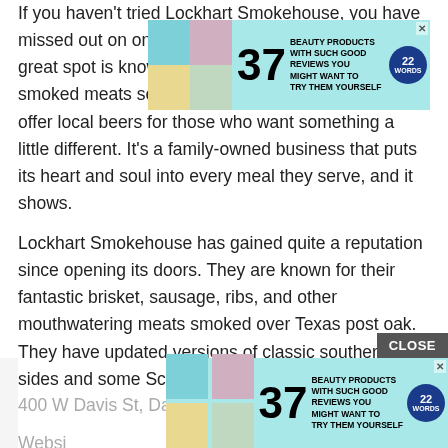If you haven't tried Lockhart Smokehouse, you have missed out on one of Dallas' best BBQ spots. This great spot is known for its Central Texas-style smoked meats served on butcher paper. They also offer local beers for those who want something a little different. It's a family-owned business that puts its heart and soul into every meal they serve, and it shows.
[Figure (other): Advertisement banner: 37 Beauty Products With Such Good Reviews You Might Want To Try Them Yourself - 22 Words]
Lockhart Smokehouse has gained quite a reputation since opening its doors. They are known for their fantastic brisket, sausage, ribs, and other mouthwatering meats smoked over Texas post oak. They have updated versions of classic southern sides and some Schmidt family favorites.
400 W Davis St, Dallas, TX 75208
Website
[Figure (other): Advertisement banner repeated at bottom: 37 Beauty Products With Such Good Reviews You Might Want To Try Them Yourself - 22 Words, with CLOSE button]